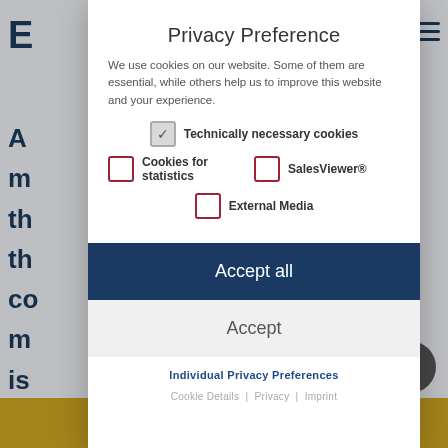Privacy Preference
We use cookies on our website. Some of them are essential, while others help us to improve this website and your experience.
Technically necessary cookies (checked)
Cookies for statistics (unchecked)
SalesViewer® (unchecked)
External Media (unchecked)
Accept all
Accept
Individual Privacy Preferences
Cookie Details | Privacy | Imprint